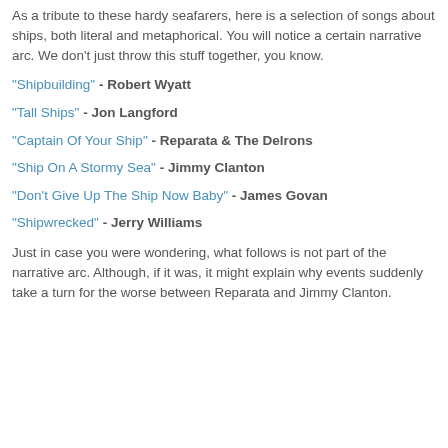As a tribute to these hardy seafarers, here is a selection of songs about ships, both literal and metaphorical. You will notice a certain narrative arc. We don't just throw this stuff together, you know.
"Shipbuilding" - Robert Wyatt
"Tall Ships" - Jon Langford
"Captain Of Your Ship" - Reparata & The Delrons
"Ship On A Stormy Sea" - Jimmy Clanton
"Don't Give Up The Ship Now Baby" - James Govan
"Shipwrecked" - Jerry Williams
Just in case you were wondering, what follows is not part of the narrative arc. Although, if it was, it might explain why events suddenly take a turn for the worse between Reparata and Jimmy Clanton.